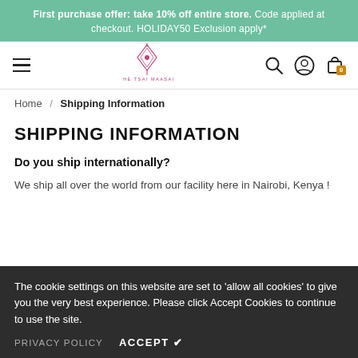First purchase offer: take 10% off entire store. Code applied at checkout. HOLIDAY50 Exclusion apply*
[Figure (logo): The Tsai Maasai brand logo with decorative motif]
Home / Shipping Information
SHIPPING INFORMATION
Do you ship internationally?
We ship all over the world from our facility here in Nairobi, Kenya !
The cookie settings on this website are set to 'allow all cookies' to give you the very best experience. Please click Accept Cookies to continue to use the site.
PRIVACY POLICY   ACCEPT ✔